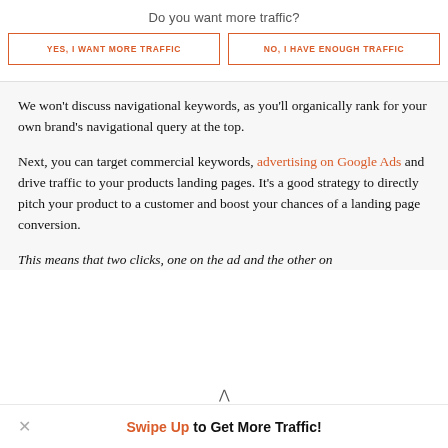Do you want more traffic?
[Figure (screenshot): Two CTA buttons side by side with orange border: 'YES, I WANT MORE TRAFFIC' and 'NO, I HAVE ENOUGH TRAFFIC']
We won't discuss navigational keywords, as you'll organically rank for your own brand's navigational query at the top.
Next, you can target commercial keywords, advertising on Google Ads and drive traffic to your products landing pages. It's a good strategy to directly pitch your product to a customer and boost your chances of a landing page conversion.
This means that two clicks, one on the ad and the other on
Swipe Up to Get More Traffic!